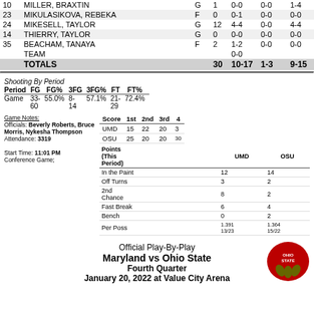| # | Name | Pos | Pts | FG | 3FG | FT |
| --- | --- | --- | --- | --- | --- | --- |
| 10 | MILLER, BRAXTIN | G | 1 | 0-0 | 0-0 | 1-4 |
| 23 | MIKULASIKOVA, REBEKA | F | 0 | 0-1 | 0-0 | 0-0 |
| 24 | MIKESELL, TAYLOR | G | 12 | 4-4 | 0-0 | 4-4 |
| 14 | THIERRY, TAYLOR | G | 0 | 0-0 | 0-0 | 0-0 |
| 35 | BEACHAM, TANAYA | F | 2 | 1-2 | 0-0 | 0-0 |
|  | TEAM |  |  | 0-0 |  |  |
|  | TOTALS |  | 30 | 10-17 | 1-3 | 9-15 |
| Period | FG | FG% | 3FG | 3FG% | FT | FT% |
| --- | --- | --- | --- | --- | --- | --- |
| Game | 33- | 55.0% | 8- | 57.1% | 21- | 72.4% |
|  | 60 |  | 14 |  | 29 |  |
Shooting By Period
Game Notes:
Officials: Beverly Roberts, Bruce Morris, Nykesha Thompson
Attendance: 3319
Start Time: 11:01 PM
Conference Game;
| Score | 1st | 2nd | 3rd | 4 |
| --- | --- | --- | --- | --- |
| UMD | 15 | 22 | 20 | 3 |
| OSU | 25 | 20 | 20 | 30 |
| Points (This Period) | UMD | OSU |
| --- | --- | --- |
| In the Paint | 12 | 14 |
| Off Turns | 3 | 2 |
| 2nd Chance | 8 | 2 |
| Fast Break | 6 | 4 |
| Bench | 0 | 2 |
| Per Poss | 1.391 13/23 | 1.364 15/22 |
Official Play-By-Play
Maryland vs Ohio State
Fourth Quarter
January 20, 2022 at Value City Arena